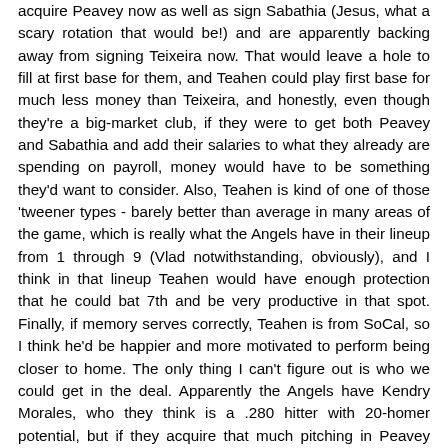acquire Peavey now as well as sign Sabathia (Jesus, what a scary rotation that would be!) and are apparently backing away from signing Teixeira now. That would leave a hole to fill at first base for them, and Teahen could play first base for much less money than Teixeira, and honestly, even though they're a big-market club, if they were to get both Peavey and Sabathia and add their salaries to what they already are spending on payroll, money would have to be something they'd want to consider. Also, Teahen is kind of one of those 'tweener types - barely better than average in many areas of the game, which is really what the Angels have in their lineup from 1 through 9 (Vlad notwithstanding, obviously), and I think in that lineup Teahen would have enough protection that he could bat 7th and be very productive in that spot. Finally, if memory serves correctly, Teahen is from SoCal, so I think he'd be happier and more motivated to perform being closer to home. The only thing I can't figure out is who we could get in the deal. Apparently the Angels have Kendry Morales, who they think is a .280 hitter with 20-homer potential, but if they acquire that much pitching in Peavey and Sabathia, I would think they'd want something a little more proven over there then a rookie.